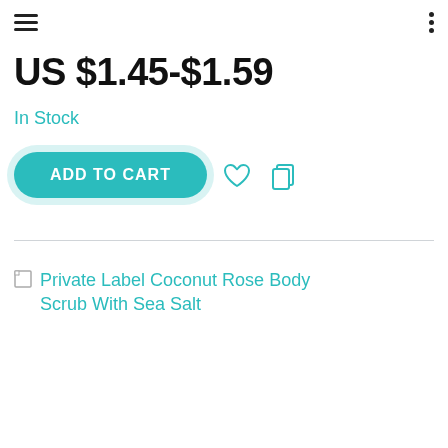US $1.45-$1.59
In Stock
ADD TO CART
Private Label Coconut Rose Body Scrub With Sea Salt